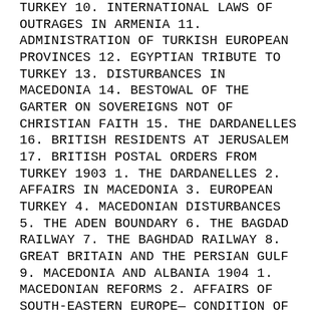TURKEY 10. INTERNATIONAL LAWS OF OUTRAGES IN ARMENIA 11. ADMINISTRATION OF TURKISH EUROPEAN PROVINCES 12. EGYPTIAN TRIBUTE TO TURKEY 13. DISTURBANCES IN MACEDONIA 14. BESTOWAL OF THE GARTER ON SOVEREIGNS NOT OF CHRISTIAN FAITH 15. THE DARDANELLES 16. BRITISH RESIDENTS AT JERUSALEM 17. BRITISH POSTAL ORDERS FROM TURKEY 1903 1. THE DARDANELLES 2. AFFAIRS IN MACEDONIA 3. EUROPEAN TURKEY 4. MACEDONIAN DISTURBANCES 5. THE ADEN BOUNDARY 6. THE BAGDAD RAILWAY 7. THE BAGHDAD RAILWAY 8. GREAT BRITAIN AND THE PERSIAN GULF 9. MACEDONIA AND ALBANIA 1904 1. MACEDONIAN REFORMS 2. AFFAIRS OF SOUTH-EASTERN EUROPE— CONDITION OF MACEDONIA 3. SUEZ CANAL NAVIGATION IN WAR TIMES 4. BALKAN REFORMS 5. MACEDONIA 6. MACEDONIA 7. MACEDONIA 8. ARMENIA AND MACEDONIA 9. MASSACRES IN THE SASUN DISTRICT 10.